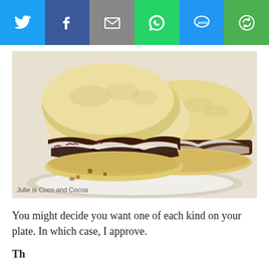[Figure (other): Social media share bar with six buttons: Twitter (blue bird icon), Facebook (blue f icon), Email (grey envelope icon), WhatsApp (green phone icon), SMS (blue SMS bubble icon), and a green circular arrow icon]
[Figure (photo): Food photograph showing two pulled pork or BBQ sandwiches on white ciabatta rolls, filled with dark BBQ meat and coleslaw with red cabbage, served on a white plate. Caption reads: Julie is Coco and Cocoa]
Julie is Coco and Cocoa
You might decide you want one of each kind on your plate. In which case, I approve.
Th